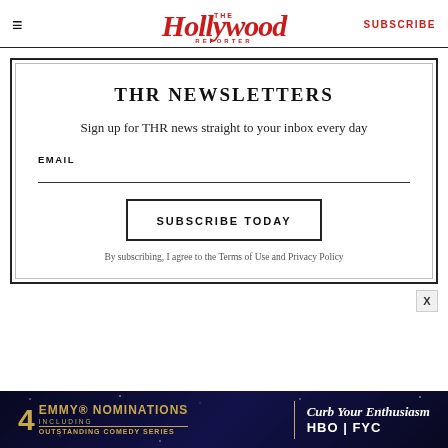≡  The Hollywood Reporter  SUBSCRIBE
THR NEWSLETTERS
Sign up for THR news straight to your inbox every day
EMAIL
SUBSCRIBE TODAY
By subscribing, I agree to the Terms of Use and Privacy Policy
[Figure (other): Advertisement banner: 4 Emmy Nominations including Outstanding Comedy Series — Curb Your Enthusiasm, HBO FYC]